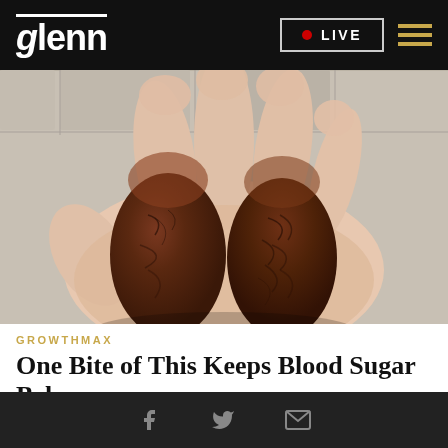glenn  • LIVE
[Figure (photo): Close-up photo of a hand holding two large dark brown Medjool dates in the palm]
GROWTHMAX
One Bite of This Keeps Blood Sugar Below
Facebook  Twitter  Email